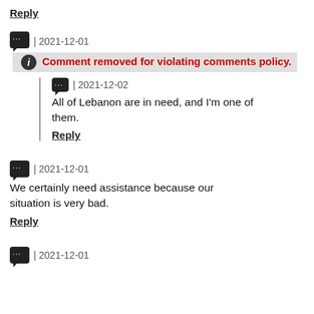Reply
| 2021-12-01 Comment removed for violating comments policy.
| 2021-12-02
All of Lebanon are in need, and I'm one of them.
Reply
| 2021-12-01
We certainly need assistance because our situation is very bad.
Reply
| 2021-12-01